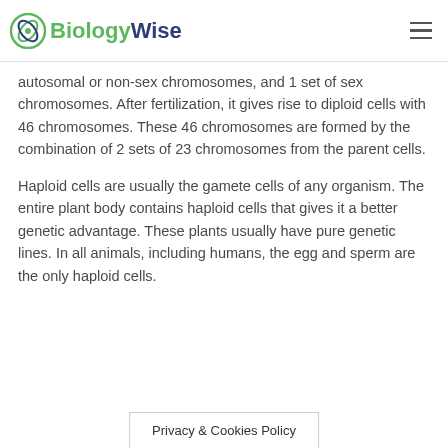BiologyWise
autosomal or non-sex chromosomes, and 1 set of sex chromosomes. After fertilization, it gives rise to diploid cells with 46 chromosomes. These 46 chromosomes are formed by the combination of 2 sets of 23 chromosomes from the parent cells.
Haploid cells are usually the gamete cells of any organism. The entire plant body contains haploid cells that gives it a better genetic advantage. These plants usually have pure genetic lines. In all animals, including humans, the egg and sperm are the only haploid cells.
Privacy & Cookies Policy